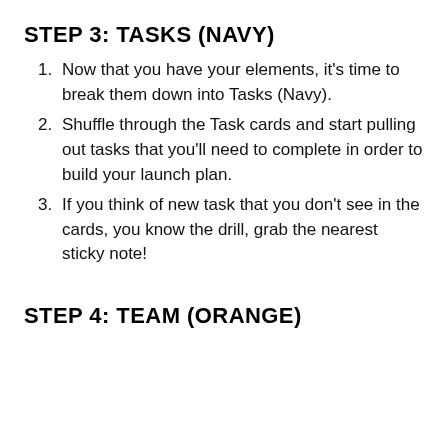STEP 3: TASKS (NAVY)
Now that you have your elements, it's time to break them down into Tasks (Navy).
Shuffle through the Task cards and start pulling out tasks that you'll need to complete in order to build your launch plan.
If you think of new task that you don't see in the cards, you know the drill, grab the nearest sticky note!
STEP 4: TEAM (ORANGE)